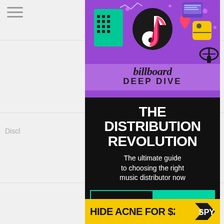[Figure (screenshot): Billboard Deep Dive advertisement overlay on a webpage. Purple top section with TikTok and social media app icons, Billboard logo and 'DEEP DIVE' text. Black section with bold white text 'THE DISTRIBUTION REVOLUTION', subtitle 'The ultimate guide to choosing the right music distributor now', and CTA buttons 'FREE DOWNLOAD' and 'GET THE REPORT'. Bottom strip showing 'HIDE ACNE FOR $24' with SPY logo.]
Discl... Jess
HIDE ACNE FOR $24